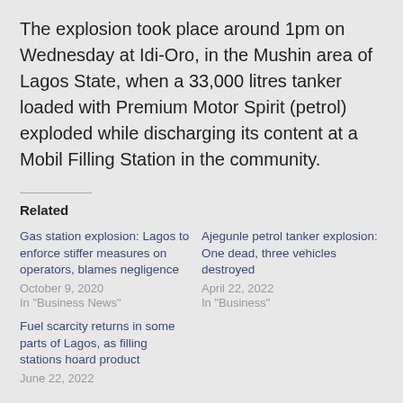The explosion took place around 1pm on Wednesday at Idi-Oro, in the Mushin area of Lagos State, when a 33,000 litres tanker loaded with Premium Motor Spirit (petrol) exploded while discharging its content at a Mobil Filling Station in the community.
Related
Gas station explosion: Lagos to enforce stiffer measures on operators, blames negligence
October 9, 2020
In "Business News"
Ajegunle petrol tanker explosion: One dead, three vehicles destroyed
April 22, 2022
In "Business"
Fuel scarcity returns in some parts of Lagos, as filling stations hoard product
June 22, 2022